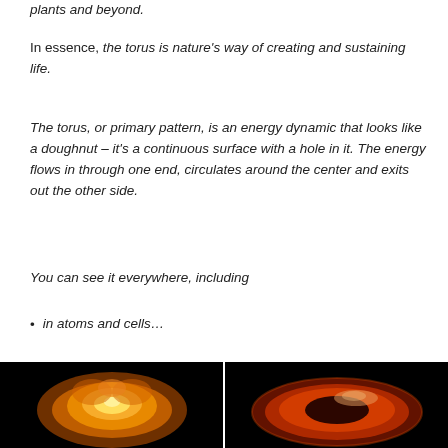plants and beyond.
In essence, the torus is nature's way of creating and sustaining life.
The torus, or primary pattern, is an energy dynamic that looks like a doughnut – it's a continuous surface with a hole in it. The energy flows in through one end, circulates around the center and exits out the other side.
You can see it everywhere, including
in atoms and cells…
[Figure (photo): Two photos on black background: left shows an orange glowing torus/cell shape from above; right shows an orange-red torus/doughnut ring shape.]